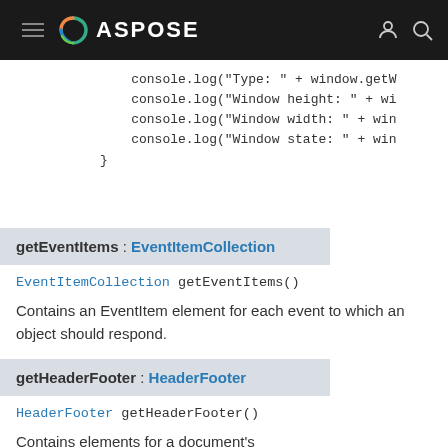ASPOSE
console.log("Type: " + window.getW...
console.log("Window height: " + wi...
console.log("Window width: " + win...
console.log("Window state: " + win...
}
getEventItems : EventItemCollection
EventItemCollection getEventItems()
Contains an EventItem element for each event to which an object should respond.
getHeaderFooter : HeaderFooter
HeaderFooter getHeaderFooter()
Contains elements for a document's